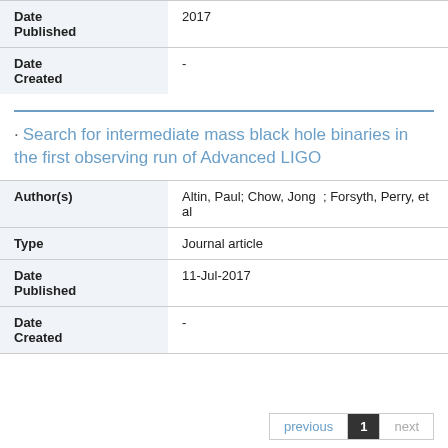| Field | Value |
| --- | --- |
| Date Published | 2017 |
| Date Created | - |
Search for intermediate mass black hole binaries in the first observing run of Advanced LIGO
| Field | Value |
| --- | --- |
| Author(s) | Altin, Paul; Chow, Jong ; Forsyth, Perry, et al |
| Type | Journal article |
| Date Published | 11-Jul-2017 |
| Date Created | - |
previous 1 next